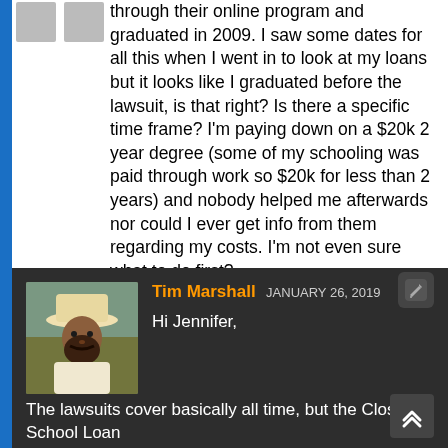through their online program and graduated in 2009. I saw some dates for all this when I went in to look at my loans but it looks like I graduated before the lawsuit, is that right? Is there a specific time frame? I'm paying down on a $20k 2 year degree (some of my schooling was paid through work so $20k for less than 2 years) and nobody helped me afterwards nor could I ever get info from them regarding my costs. I'm not even sure what to do first?
Reply
Tim Marshall JANUARY 26, 2019
Hi Jennifer,
The lawsuits cover basically all time, but the Closed School Loan